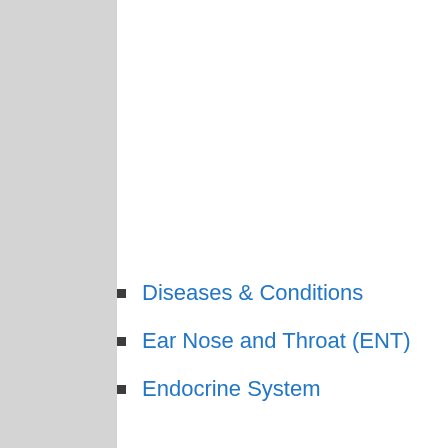Diseases & Conditions
Ear Nose and Throat (ENT)
Endocrine System